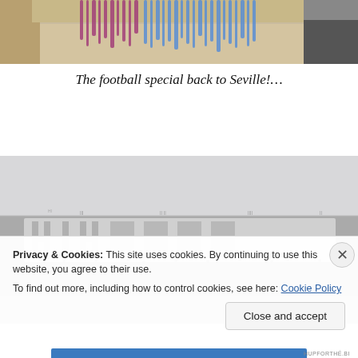[Figure (photo): Top portion of a photo showing blue and purple pom-poms or decorative items on a table/surface]
The football special back to Seville!…
[Figure (photo): Black and white aerial photo of a football stadium stand with large letters visible in the crowd/seating area, possibly spelling HELVA or similar]
Privacy & Cookies: This site uses cookies. By continuing to use this website, you agree to their use.
To find out more, including how to control cookies, see here: Cookie Policy
Close and accept